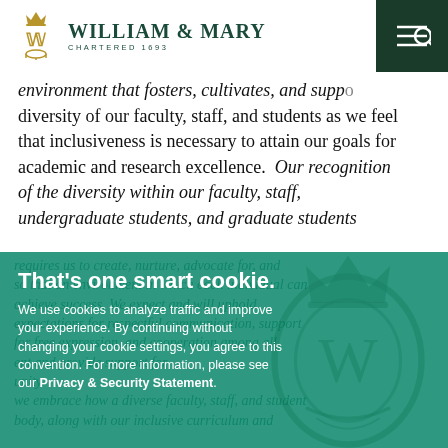William & Mary | Chartered 1693
environment that fosters, cultivates, and supports the diversity of our faculty, staff, and students as we feel that inclusiveness is necessary to attain our goals for academic and research excellence. Our recognition of the diversity within our faculty, staff, undergraduate students, and graduate students
requires us to create, nurture, advocate for, and support an environment in which each individual can achieve success. We expect and will uphold expectations for respectful communication, support for free expression, and cooperation among all members of our community and provide support for our community. We embrace how a diverse faculty, staff, and student body, along with our inclusive curriculum and
That's one smart cookie.
We use cookies to analyze traffic and improve your experience. By continuing without changing your cookie settings, you agree to this convention. For more information, please see our Privacy & Security Statement.